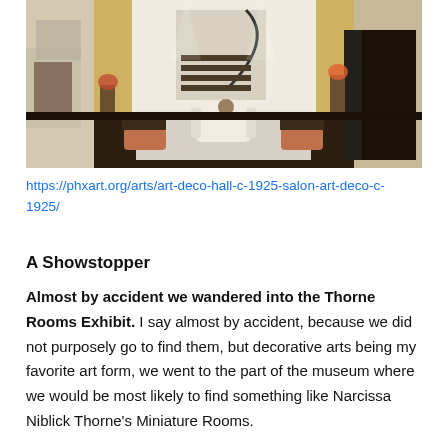[Figure (photo): Interior photo of a miniature Art Deco salon room with dark floors, white walls, a curved staircase, fireplace, white armchair, side tables, decorative objects, and golden draperies.]
https://phxart.org/arts/art-deco-hall-c-1925-salon-art-deco-c-1925/
A Showstopper
Almost by accident we wandered into the Thorne Rooms Exhibit.  I say almost by accident, because we did not purposely go to find them, but decorative arts being my favorite art form, we went to the part of the museum where we would be most likely to find something like Narcissa Niblick Thorne's Miniature Rooms.